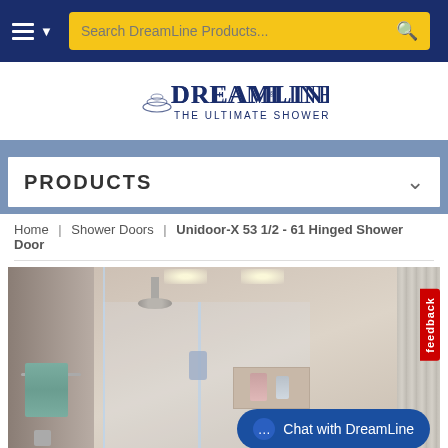[Figure (screenshot): Top navigation bar with hamburger menu, dropdown arrow, and search box reading 'Search DreamLine Products...' with search icon, on dark navy blue background]
[Figure (logo): DreamLine logo - stylized text reading 'DreamLine The Ultimate Shower Door' with decorative circular wave mark on left]
PRODUCTS
Home | Shower Doors | Unidoor-X 53 1/2 - 61 Hinged Shower Door
[Figure (photo): Product photo of a modern bathroom with DreamLine Unidoor-X hinged shower door installed, showing frameless glass enclosure, chrome fixtures, shower head, towel bar with teal towel, and decorative tile. Red 'feedback' tab visible on right edge. 'Chat with DreamLine' button at bottom right.]